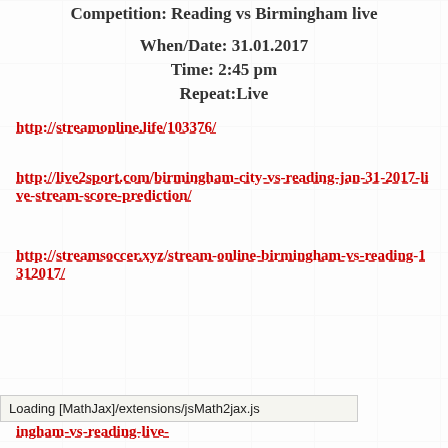Competition: Reading vs Birmingham live
When/Date: 31.01.2017
Time: 2:45 pm
Repeat:Live
http://streamonline.life/103376/
http://live2sport.com/birmingham-city-vs-reading-jan-31-2017-live-stream-score-prediction/
http://streamsoccer.xyz/stream-online-birmingham-vs-reading-1312017/
Loading [MathJax]/extensions/jsMath2jax.js
http://...ingham-vs-reading-live-